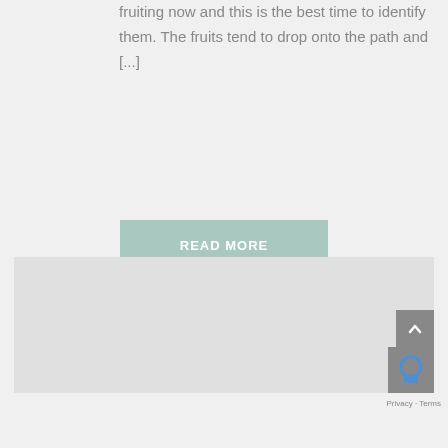fruiting now and this is the best time to identify them. The fruits tend to drop onto the path and [...]
[Figure (other): READ MORE button - a muted teal/sage green button with white uppercase text]
[Figure (other): Light gray image placeholder block taking up the lower portion of the page, with a back-to-top arrow button and reCAPTCHA badge in the bottom-right corner]
Privacy · Terms